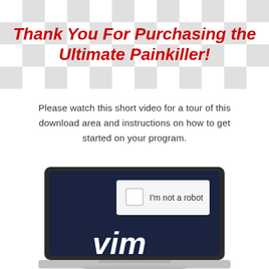Thank You For Purchasing the Ultimate Painkiller!
Please watch this short video for a tour of this download area and instructions on how to get started on your program.
[Figure (screenshot): Laptop computer screen showing a dark navy background with a reCAPTCHA-style checkbox widget saying 'I'm not a robot' and large white 'vim' text at the bottom of the screen.]